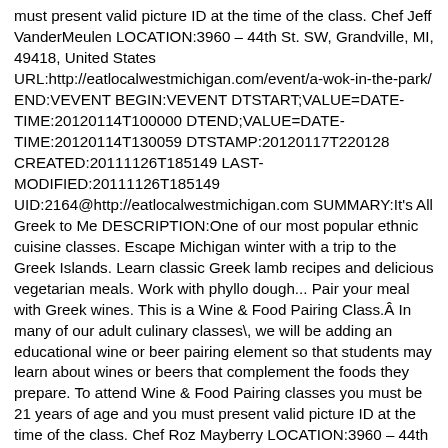must present valid picture ID at the time of the class. Chef Jeff VanderMeulen LOCATION:3960 – 44th St. SW, Grandville, MI, 49418, United States URL:http://eatlocalwestmichigan.com/event/a-wok-in-the-park/ END:VEVENT BEGIN:VEVENT DTSTART;VALUE=DATE-TIME:20120114T100000 DTEND;VALUE=DATE-TIME:20120114T130059 DTSTAMP:20120117T220128 CREATED:20111126T185149 LAST-MODIFIED:20111126T185149 UID:2164@http://eatlocalwestmichigan.com SUMMARY:It's All Greek to Me DESCRIPTION:One of our most popular ethnic cuisine classes. Escape Michigan winter with a trip to the Greek Islands. Learn classic Greek lamb recipes and delicious vegetarian meals. Work with phyllo dough... Pair your meal with Greek wines. This is a Wine & Food Pairing Class.Â In many of our adult culinary classes\, we will be adding an educational wine or beer pairing element so that students may learn about wines or beers that complement the foods they prepare. To attend Wine & Food Pairing classes you must be 21 years of age and you must present valid picture ID at the time of the class. Chef Roz Mayberry LOCATION:3960 – 44th St. SW, Grandville, MI, 49418, United States URL:http://eatlocalwestmichigan.com/event/its-all-greek-to-me/ END:VEVENT BEGIN:VEVENT DTSTART;VALUE=DATE-TIME:20120111T180000 DTEND;VALUE=DATE-TIME:20120111T210059 DTSTAMP:20120117T220128 CREATED:20111126T185146